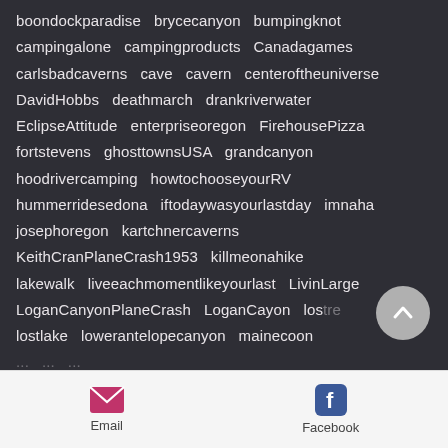boondockparadise brycecanyon bumpingknot campingalone campingproducts Canadagames carlsbadcaverns cave cavern centeroftheuniverse DavidHobbs deathmarch drankriverwater EclipseAttitude enterpriseoregon FirehousePizza fortstevens ghosttownsUSA grandcanyon hoodrivercamping howtochooseyourRV hummerridesedona iftodaywasyourlastday imnaha josephoregon kartchnercaverns KeithCranPlaneCrash1953 killmeonahike lakewalk liveeachmomentlikeyourlast LivinLarge LoganCanyonPlaneCrash LoganCayon lostre lostlake lowerantelopecanyon mainecoon
[Figure (other): Scroll-to-top circular button with upward chevron arrow]
Email
[Figure (logo): Facebook logo icon]
Facebook